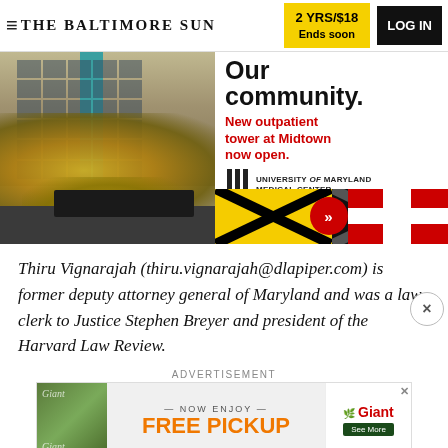THE BALTIMORE SUN | 2 YRS/$18 Ends soon | LOG IN
[Figure (photo): Advertisement banner showing a building photo on the left (hospital or office tower with yellow foliage in front) and University of Maryland Medical Center ad on the right with text 'Our community. New outpatient tower at Midtown now open.' along with UMMC logo and Maryland flag imagery at bottom.]
Thiru Vignarajah (thiru.vignarajah@dlapiper.com) is former deputy attorney general of Maryland and was a law clerk to Justice Stephen Breyer and president of the Harvard Law Review.
ADVERTISEMENT
[Figure (photo): Giant Food advertisement banner: NOW ENJOY FREE PICKUP - Giant logo with See More button. Green grocery image on left.]